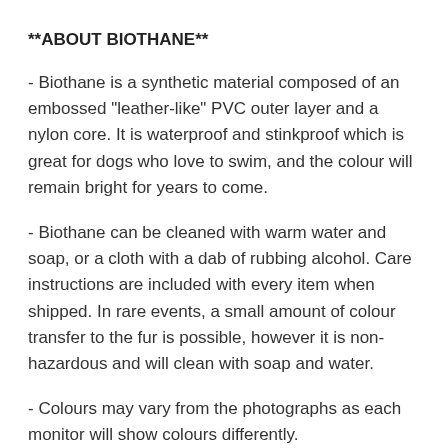**ABOUT BIOTHANE**
- Biothane is a synthetic material composed of an embossed "leather-like" PVC outer layer and a nylon core. It is waterproof and stinkproof which is great for dogs who love to swim, and the colour will remain bright for years to come.
- Biothane can be cleaned with warm water and soap, or a cloth with a dab of rubbing alcohol. Care instructions are included with every item when shipped. In rare events, a small amount of colour transfer to the fur is possible, however it is non-hazardous and will clean with soap and water.
- Colours may vary from the photographs as each monitor will show colours differently.
- The safety and well-being of you and your dog is our number one priority, which is why all metal hardware components are warrantied against breakage for the life of the collar. In the rare event that a metal component fails, it will be repaired free of charge or replacement hardware will be mailed. All required